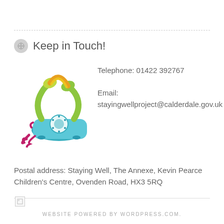Keep in Touch!
[Figure (illustration): Colorful retro telephone illustration in green, teal, magenta and pink]
Telephone: 01422 392767

Email:
stayingwellproject@calderdale.gov.uk

Postal address: Staying Well, The Annexe, Kevin Pearce Children's Centre, Ovenden Road, HX3 5RQ
[Figure (illustration): Broken image placeholder icon]
WEBSITE POWERED BY WORDPRESS.COM.